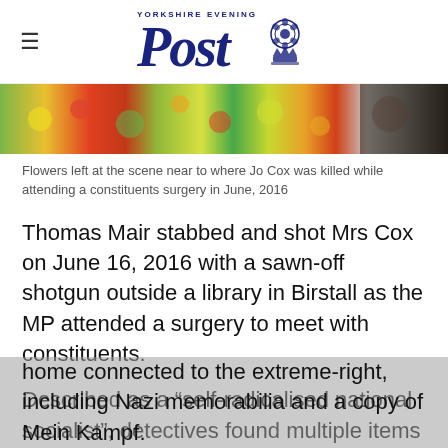Yorkshire Evening Post
[Figure (photo): Flowers left at the scene near to where Jo Cox was killed — colorful flower tributes with people in background]
Flowers left at the scene near to where Jo Cox was killed while attending a constituents surgery in June, 2016
Thomas Mair stabbed and shot Mrs Cox on June 16, 2016 with a sawn-off shotgun outside a library in Birstall as the MP attended a surgery to meet with constituents.
Described as a “self-radicalised national socialist”, detectives found multiple items in his home connected to the extreme-right, including Nazi memorabilia and a copy of Mein Kampf.